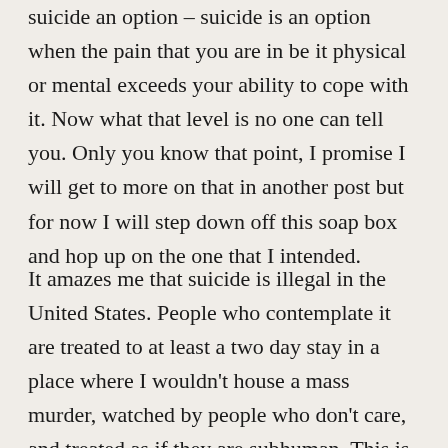suicide an option – suicide is an option when the pain that you are in be it physical or mental exceeds your ability to cope with it. Now what that level is no one can tell you. Only you know that point, I promise I will get to more on that in another post but for now I will step down off this soap box and hop up on the one that I intended.
It amazes me that suicide is illegal in the United States. People who contemplate it are treated to at least a two day stay in a place where I wouldn't house a mass murder, watched by people who don't care, and treated as if they are subhuman. This is